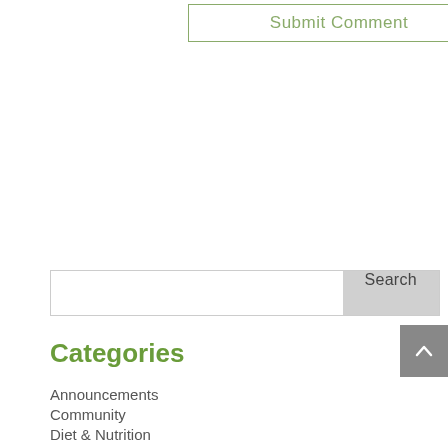Submit Comment
[Figure (other): Search input box with Search button]
Categories
Announcements
Community
Diet & Nutrition
Events